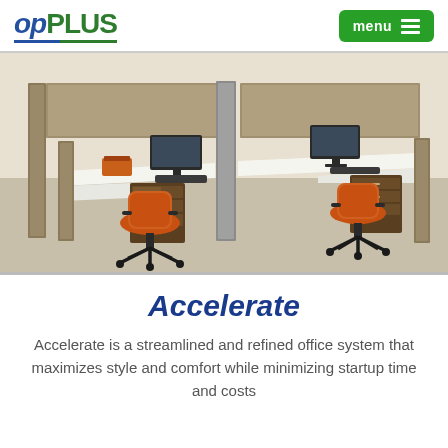OpPLUS — menu
[Figure (photo): Office cubicle workstation setup with orange chairs, beige/brown panel dividers, white desktops, monitors, keyboards, and file pedestals on a light carpet floor.]
Accelerate
Accelerate is a streamlined and refined office system that maximizes style and comfort while minimizing startup time and costs